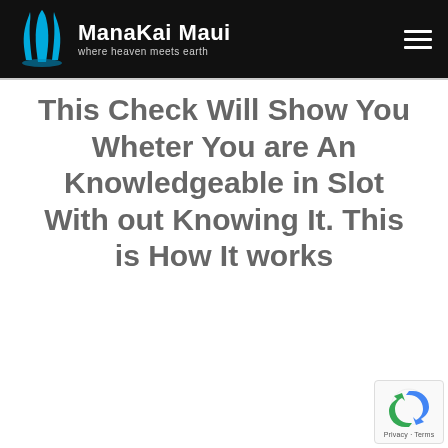Mana Kai Maui — where heaven meets earth
This Check Will Show You Wheter You are An Knowledgeable in Slot With out Knowing It. This is How It works
[Figure (logo): reCAPTCHA badge with Privacy and Terms links]